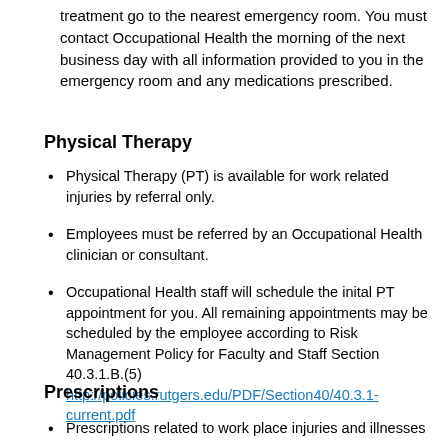treatment go to the nearest emergency room. You must contact Occupational Health the morning of the next business day with all information provided to you in the emergency room and any medications prescribed.
Physical Therapy
Physical Therapy (PT) is available for work related injuries by referral only.
Employees must be referred by an Occupational Health clinician or consultant.
Occupational Health staff will schedule the inital PT appointment for you. All remaining appointments may be scheduled by the employee according to Risk Management Policy for Faculty and Staff Section 40.3.1.B.(5) http://policies.rutgers.edu/PDF/Section40/40.3.1-current.pdf
Prescriptions
Prescriptions related to work place injuries and illnesses